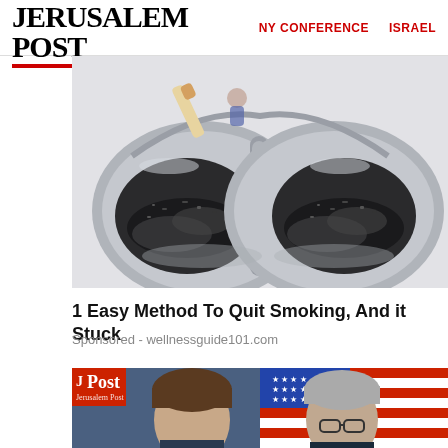THE JERUSALEM POST | NY CONFERENCE | ISRAEL
[Figure (photo): Close-up photo of an open metal cigarette tin/case with cigarette ash and remnants scattered inside, showing the metallic interior divided into sections]
1 Easy Method To Quit Smoking, And it Stuck
Sponsored - wellnessguide101.com
[Figure (photo): Two men shown side by side - a younger man with brown hair on the left against a blue background, and an older man with grey hair and glasses on the right with an American flag in the background. JPost logo overlay in top-left corner.]